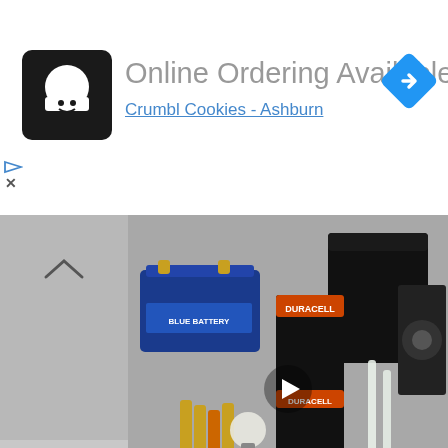[Figure (screenshot): Advertisement banner: Crumbl Cookies logo (black square with chef character) on left, text 'Online Ordering Available' in gray, subtitle 'Crumbl Cookies - Ashburn' in blue underlined, navigation diamond icon top right]
[Figure (photo): Product photo of Duracell batteries and related power/lighting products including car battery, AA/AAA batteries, light bulbs, and tube lights arranged on gray background with video play button overlay]
[Figure (logo): Orange circular logo with green plus sign symbol (Duracell/retail brand logo)]
In-store shopping
[Figure (logo): Black circular logo with infinity/loop symbol]
[Figure (logo): Blue diamond navigation arrow icon]